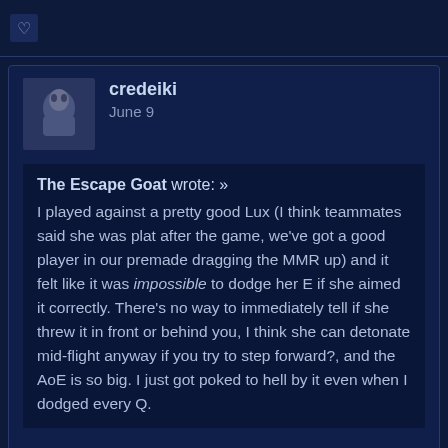[Figure (other): Top bar with heart/like icon on dark blue background]
credeiki
June 9
The Escape Goat wrote: » I played against a pretty good Lux (I think teammates said she was plat after the game, we've got a good player in our premade dragging the MMR up) and it felt like it was impossible to dodge her E if she aimed it correctly. There's no way to immediately tell if she threw it in front or behind you, I think she can detonate mid-flight anyway if you try to step forward?, and the AoE is so big. I just got poked to hell by it even when I dodged every Q.
Yeah, if you doubletap E it detonates as it lands; if you don't doubletap, you can let it linger for a few seconds for zoning or slowing purposes. It's really big and has a fast travel time so you can often quite easily hit someone who is stepping up to auto. It does cost a lot of mana though, so the thing in midlane